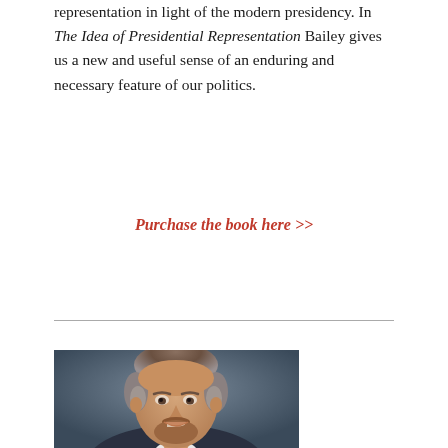representation in light of the modern presidency. In The Idea of Presidential Representation Bailey gives us a new and useful sense of an enduring and necessary feature of our politics.
Purchase the book here >>
[Figure (photo): Headshot of a middle-aged man with brown and grey hair, beard and mustache, smiling, wearing a suit, against a grey background]